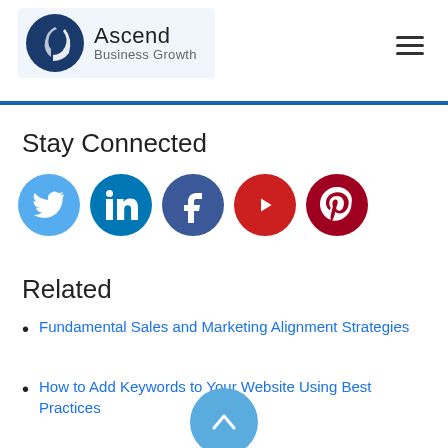[Figure (logo): Ascend Business Growth logo with dark blue circle icon and text]
Stay Connected
[Figure (infographic): Row of 5 social media icons: Twitter (light blue), LinkedIn (blue), Facebook (dark blue), YouTube (red), Pinterest (dark red)]
Related
Fundamental Sales and Marketing Alignment Strategies
How to Add Keywords to Your Website Using Best Practices